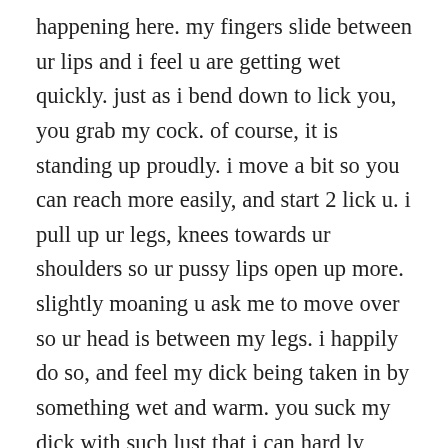happening here. my fingers slide between ur lips and i feel u are getting wet quickly. just as i bend down to lick you, you grab my cock. of course, it is standing up proudly. i move a bit so you can reach more easily, and start 2 lick u. i pull up ur legs, knees towards ur shoulders so ur pussy lips open up more. slightly moaning u ask me to move over so ur head is between my legs. i happily do so, and feel my dick being taken in by something wet and warm. you suck my dick with such lust that i can hard ly believe it. as you lick, i start to make fucking motions in and out ur mouth. i am getting hornier every second, and quickly start licking your more and more intensely. klasbahis yeni giriş as i lick, i use to fingers to work the inside of your pussy. the other hand i use to tickle your buttocks. damn, u are